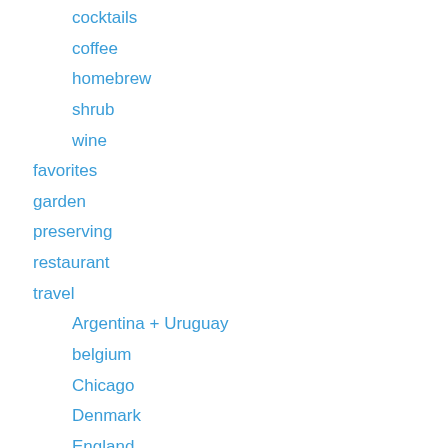cocktails
coffee
homebrew
shrub
wine
favorites
garden
preserving
restaurant
travel
Argentina + Uruguay
belgium
Chicago
Denmark
England
France
Germany
Iceland
Iowa + Wisconsin
Japan